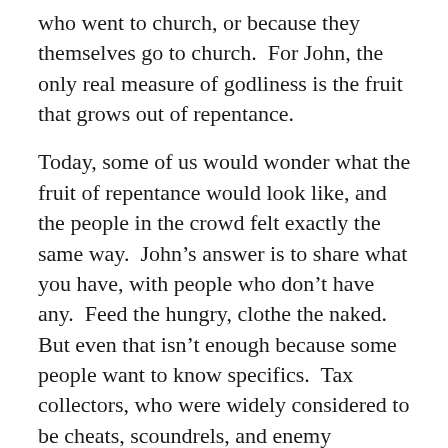who went to church, or because they themselves go to church.  For John, the only real measure of godliness is the fruit that grows out of repentance.
Today, some of us would wonder what the fruit of repentance would look like, and the people in the crowd felt exactly the same way.  John's answer is to share what you have, with people who don't have any.  Feed the hungry, clothe the naked.  But even that isn't enough because some people want to know specifics.  Tax collectors, who were widely considered to be cheats, scoundrels, and enemy collaborators, are told to just do their jobs as honestly as they could.  Soldiers, who were, in fact, the enemy,